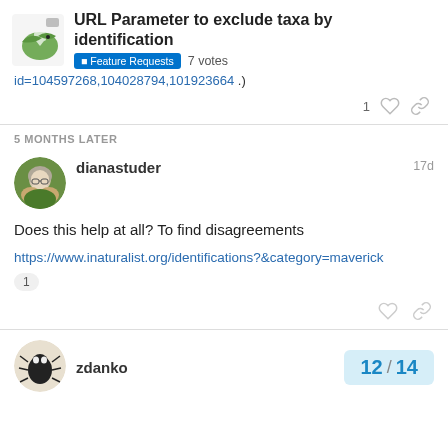URL Parameter to exclude taxa by identification | Feature Requests 7 votes
id=104597268,104028794,101923664 .)
1 like, share
5 MONTHS LATER
dianastuder 17d
Does this help at all? To find disagreements
https://www.inaturalist.org/identifications?&category=maverick
1 reaction
share
zdanko 12 / 14